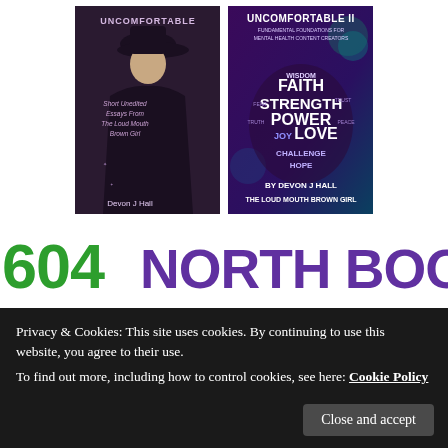[Figure (illustration): Two book covers side by side. Left: 'UNCOMFORTABLE' by Devon J Hall — dark purple cover with silhouette of woman in hat, subtitle 'Short Unedited Essays From The Loud Mouth Brown Girl'. Right: 'UNCOMFORTABLE II' by Devon J Hall The Loud Mouth Brown Girl — purple/teal cover with word cloud sphere showing FAITH, STRENGTH, POWER, LOVE, JOY, CHALLENGE, HOPE, WISDOM etc.]
[Figure (logo): 604 NORTH BOOK SHOP logo in large bold font, numbers in green, text in purple]
Privacy & Cookies: This site uses cookies. By continuing to use this website, you agree to their use.
To find out more, including how to control cookies, see here: Cookie Policy
Close and accept